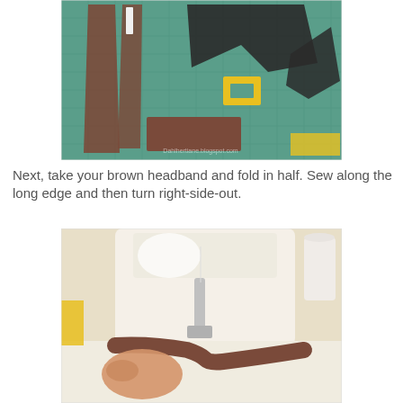[Figure (photo): Photo of craft supplies on a green cutting mat: brown felt fabric pieces, black fabric pieces, a yellow rectangular buckle, and a white eraser/chalk piece.]
Next, take your brown headband and fold in half. Sew along the long edge and then turn right-side-out.
[Figure (photo): Photo of a sewing machine sewing a brown felt headband. A hand is guiding the brown fabric tube under the sewing machine presser foot. Yellow object visible on the left side.]